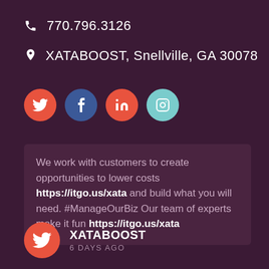770.796.3126
XATABOOST, Snellville, GA 30078
[Figure (infographic): Four social media icon circles: Twitter (orange), Facebook (blue), LinkedIn (orange), Instagram (teal)]
We work with customers to create opportunities to lower costs https://itgo.us/xata and build what you will need. #ManageOurBiz Our team of experts make it fun https://itgo.us/xata
XATABOOST
6 DAYS AGO